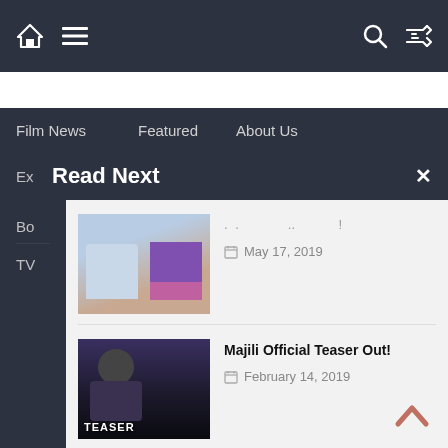Film News | Featured | About Us | Read Next
Read Next
[Figure (photo): Photo of a man and woman standing together, the man in a light blue shirt and the woman in a pink and purple sari]
May 17, 2019
[Figure (photo): Movie teaser image with a man in dramatic lighting, with TEASER badge overlay]
Majili Official Teaser Out!
February 14, 2019